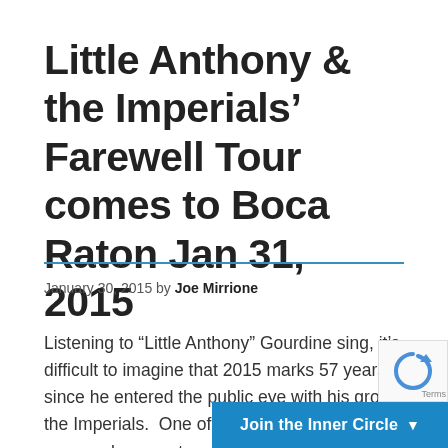Little Anthony & the Imperials’ Farewell Tour comes to Boca Raton Jan 31, 2015
January 30, 2015 by Joe Mirrione
Listening to “Little Anthony” Gourdine sing, it’s difficult to imagine that 2015 marks 57 years since he entered the public eye with his group, the Imperials.  One of the very few late-fifties-era vocal groups to successfully re-invent themselves and sustain a successful recording career into the decade that fo